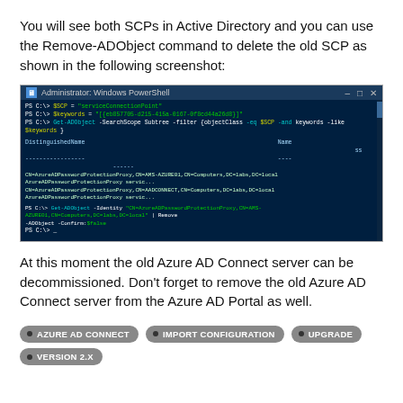You will see both SCPs in Active Directory and you can use the Remove-ADObject command to delete the old SCP as shown in the following screenshot:
[Figure (screenshot): Windows PowerShell Administrator window showing PowerShell commands to get and remove an ADObject (SCP - Service Connection Point) related to AzureADPasswordProtectionProxy. Commands include Get-ADObject with SearchScope Subtree filter and Remove-ADObject with Confirm $false.]
At this moment the old Azure AD Connect server can be decommissioned. Don't forget to remove the old Azure AD Connect server from the Azure AD Portal as well.
AZURE AD CONNECT
IMPORT CONFIGURATION
UPGRADE
VERSION 2.X